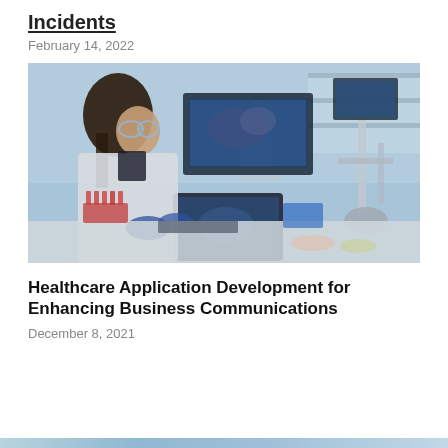Incidents
February 14, 2022
[Figure (photo): A female scientist in a lab coat and safety goggles working at a laboratory bench with a tablet and computer monitors displaying microscopic images, with laboratory equipment including a microscope visible in the background.]
Healthcare Application Development for Enhancing Business Communications
December 8, 2021